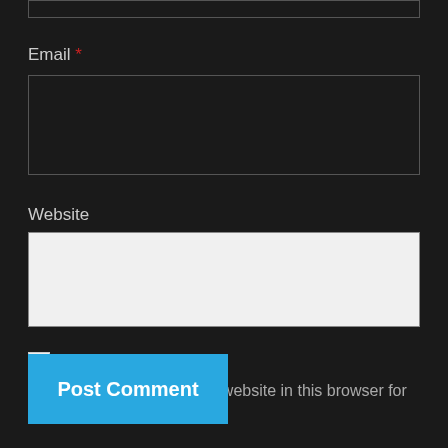Email *
[Figure (screenshot): Email input field (dark background, dark fill, outlined box)]
Website
[Figure (screenshot): Website input field (white/light fill, outlined box)]
[Figure (screenshot): Unchecked checkbox]
Save my name, email, and website in this browser for the next time I comment.
Post Comment